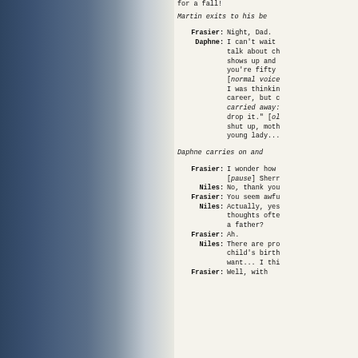for a fall!
Martin exits to his be
Frasier: Night, Dad.
Daphne: I can't wait talk about ch shows up and you're fifty [normal voice I was thinkin career, but c carried away: drop it." [ol shut up, moth young lady...
Daphne carries on and
Frasier: I wonder how [pause] Sherr
Niles: No, thank you
Frasier: You seem awfu
Niles: Actually, yes thoughts ofte a father?
Frasier: Ah.
Niles: There are pro child's birth want... I thi
Frasier: Well, with